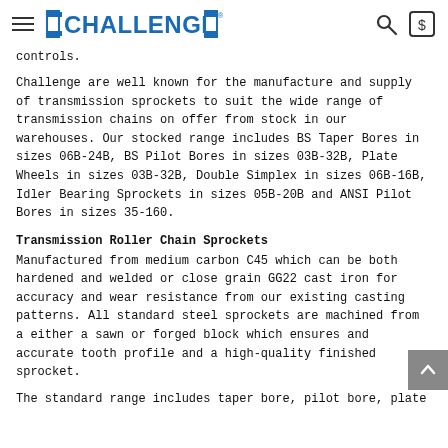CHALLENGE
controls.
Challenge are well known for the manufacture and supply of transmission sprockets to suit the wide range of transmission chains on offer from stock in our warehouses. Our stocked range includes BS Taper Bores in sizes 06B-24B, BS Pilot Bores in sizes 03B-32B, Plate Wheels in sizes 03B-32B, Double Simplex in sizes 06B-16B, Idler Bearing Sprockets in sizes 05B-20B and ANSI Pilot Bores in sizes 35-160.
Transmission Roller Chain Sprockets
Manufactured from medium carbon C45 which can be both hardened and welded or close grain GG22 cast iron for accuracy and wear resistance from our existing casting patterns. All standard steel sprockets are machined from a either a sawn or forged block which ensures and accurate tooth profile and a high-quality finished sprocket.
The standard range includes taper bore, pilot bore, plate